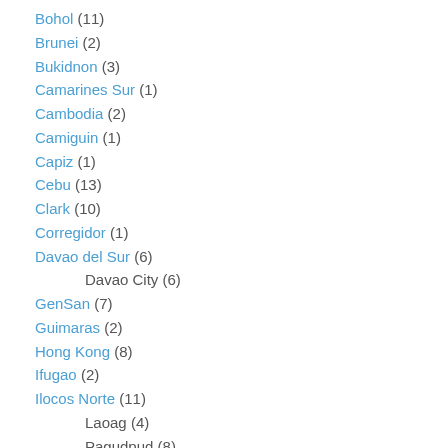Bohol (11)
Brunei (2)
Bukidnon (3)
Camarines Sur (1)
Cambodia (2)
Camiguin (1)
Capiz (1)
Cebu (13)
Clark (10)
Corregidor (1)
Davao del Sur (6)
Davao City (6)
GenSan (7)
Guimaras (2)
Hong Kong (8)
Ifugao (2)
Ilocos Norte (11)
Laoag (4)
Pagudpud (8)
Ilocos Sur (2)